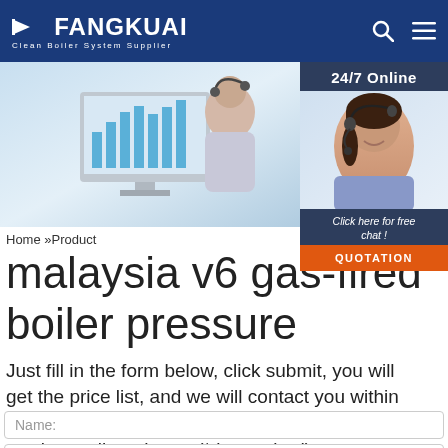FANGKUAI Clean Boiler System Supplier
[Figure (photo): Woman with headset in office environment with monitor showing bar charts in background]
[Figure (photo): 24/7 Online support widget with woman wearing headset and 'Click here for free chat!' button and QUOTATION button]
Home »Product
malaysia v6 gas-fired boiler pressure
Just fill in the form below, click submit, you will get the price list, and we will contact you within one working day. Please also feel free to contact us via email or phone. (* is required).
Name:
Email: